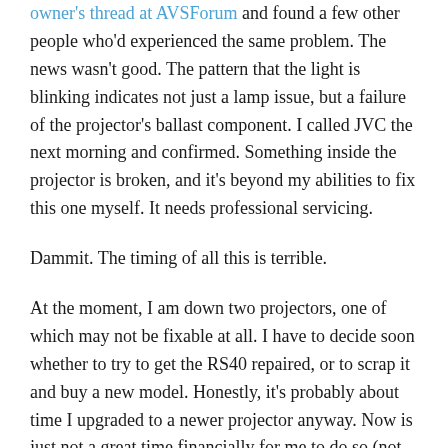owner's thread at AVSForum and found a few other people who'd experienced the same problem. The news wasn't good. The pattern that the light is blinking indicates not just a lamp issue, but a failure of the projector's ballast component. I called JVC the next morning and confirmed. Something inside the projector is broken, and it's beyond my abilities to fix this one myself. It needs professional servicing.
Dammit. The timing of all this is terrible.
At the moment, I am down two projectors, one of which may not be fixable at all. I have to decide soon whether to try to get the RS40 repaired, or to scrap it and buy a new model. Honestly, it's probably about time I upgraded to a newer projector anyway. Now is just not a great time financially for me to do so (not